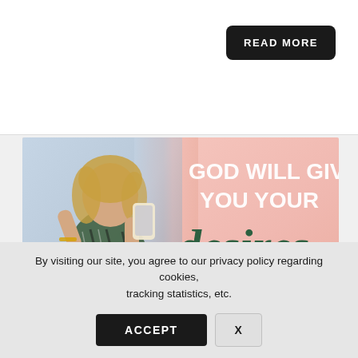READ MORE
[Figure (photo): Banner image showing a woman taking a selfie in a patterned green/black shirt, sitting in a white chair, with text overlay 'GOD WILL GIVE YOU YOUR desires – MANIFESTING MEN, MONEY, AND EVERYTHING YOU WANT.' on a pink background with a logo badge.]
By visiting our site, you agree to our privacy policy regarding cookies, tracking statistics, etc.
ACCEPT
X